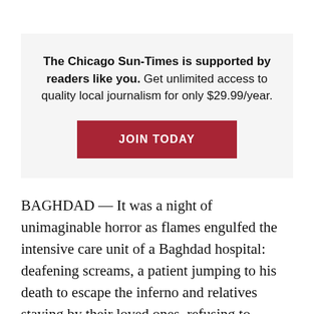The Chicago Sun-Times is supported by readers like you. Get unlimited access to quality local journalism for only $29.99/year.
JOIN TODAY
BAGHDAD — It was a night of unimaginable horror as flames engulfed the intensive care unit of a Baghdad hospital: deafening screams, a patient jumping to his death to escape the inferno and relatives staying by their loved ones, refusing to abandon coronavirus patients